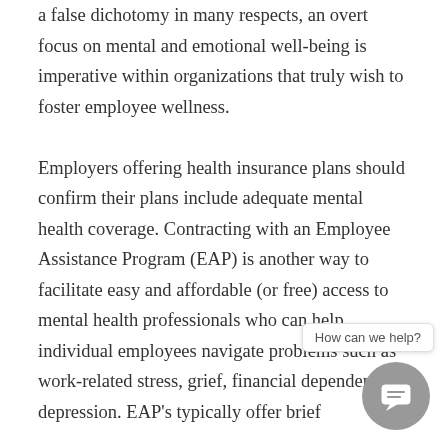a false dichotomy in many respects, an overt focus on mental and emotional well-being is imperative within organizations that truly wish to foster employee wellness.

Employers offering health insurance plans should confirm their plans include adequate mental health coverage. Contracting with an Employee Assistance Program (EAP) is another way to facilitate easy and affordable (or free) access to mental health professionals who can help individual employees navigate problems such as work-related stress, grief, financial dependence and depression. EAP's typically offer brief